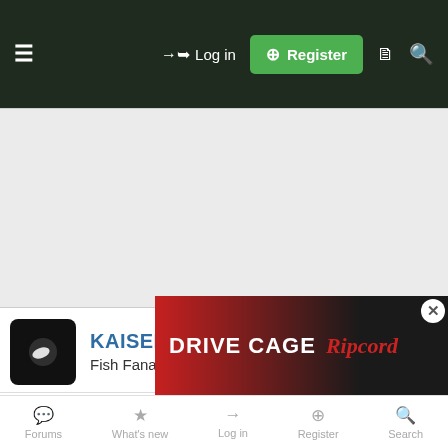☰   →] Log in   [+] Register
KAISER
Fish Fanatic
Jun 28, 2010   #14
stubert said: ↑
So whats your experiences with pets at home? or any other multi chain pet stores?
I think maybe some people need to read the opening statement...
[Figure (screenshot): Drive Cage / Ripcord Arrow Rest advertisement banner]
Forums   What's new   Log in   Register   Search